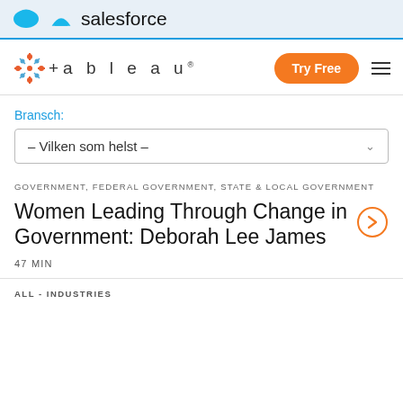salesforce
[Figure (logo): Tableau logo with plus icon and wordmark]
Bransch:
– Vilken som helst –
GOVERNMENT, FEDERAL GOVERNMENT, STATE & LOCAL GOVERNMENT
Women Leading Through Change in Government: Deborah Lee James
47 MIN
ALL - INDUSTRIES